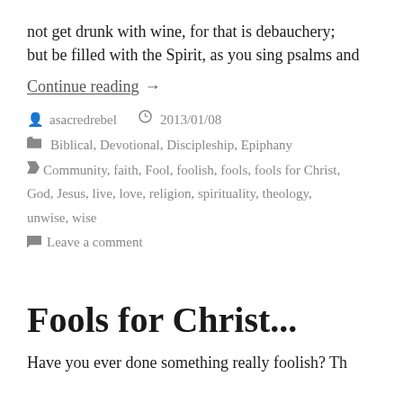not get drunk with wine, for that is debauchery; but be filled with the Spirit, as you sing psalms and
Continue reading →
By asacredrebel  2013/01/08  Biblical, Devotional, Discipleship, Epiphany  Community, faith, Fool, foolish, fools, fools for Christ, God, Jesus, live, love, religion, spirituality, theology, unwise, wise  Leave a comment
Fools for Christ...
Have you ever done something really foolish? Th